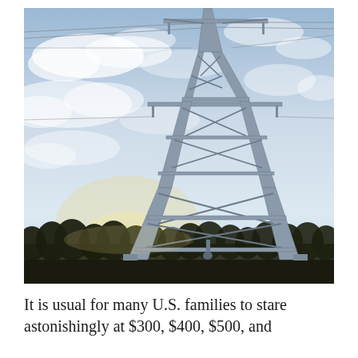[Figure (photo): A large steel electricity transmission tower (pylon) photographed from below against a partly cloudy sky at dusk or dawn. The tower's lattice steel structure dominates the center-right of the frame, with high-voltage power lines extending from its top. A treeline is visible at the bottom of the image, backlit by warm light on the horizon.]
It is usual for many U.S. families to stare astonishingly at $300, $400, $500, and